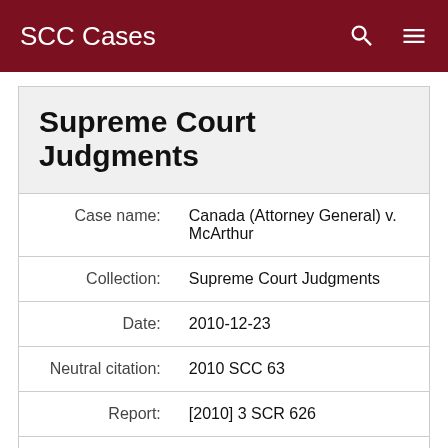SCC Cases
Supreme Court Judgments
| Field | Value |
| --- | --- |
| Case name: | Canada (Attorney General) v. McArthur |
| Collection: | Supreme Court Judgments |
| Date: | 2010-12-23 |
| Neutral citation: | 2010 SCC 63 |
| Report: | [2010] 3 SCR 626 |
| Case number: | 33043 |
| Judges: | Binnie, William Ian Corneil; LeBel, Louis; Deschamps, Marie; Abella, Rosalie |